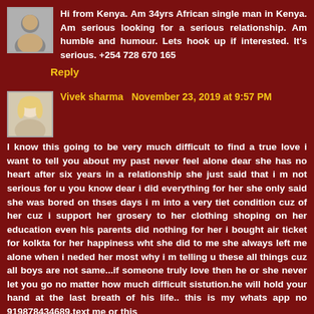[Figure (photo): Small avatar/profile photo of a person, top-left of first comment]
Hi from Kenya. Am 34yrs African single man in Kenya. Am serious looking for a serious relationship. Am humble and humour. Lets hook up if interested. It's serious. +254 728 670 165
Reply
[Figure (photo): Small avatar/profile photo of a woman with blonde hair, second comment]
Vivek sharma  November 23, 2019 at 9:57 PM
I know this going to be very much difficult to find a true love i want to tell you about my past never feel alone dear she has no heart after six years in a relationship she just said that i m not serious for u you know dear i did everything for her she only said she was bored on thses days i m into a very tiet condition cuz of her cuz i support her grosery to her clothing shoping on her education even his parents did nothing for her i bought air ticket for kolkta for her happiness wht she did to me she always left me alone when i neded her most why i m telling u these all things cuz all boys are not same...if someone truly love then he or she never let you go no matter how much difficult sistution.he will hold your hand at the last breath of his life.. this is my whats app no 919878434689.text me or this